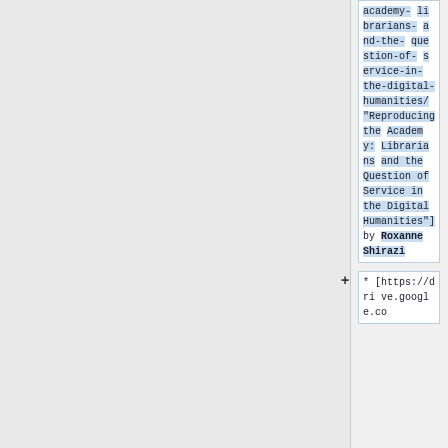academy-librarians-and-the-question-of-service-in-the-digital-humanities/ "Reproducing the Academy: Librarians and the Question of Service in the Digital Humanities"] by Roxanne Shirazi
* [https://drive.google.co